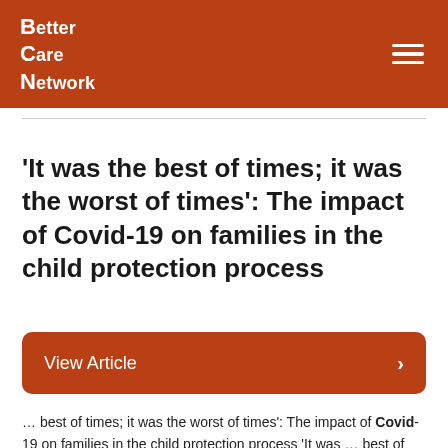Better Care Network
'It was the best of times; it was the worst of times': The impact of Covid-19 on families in the child protection process
View Article
… best of times; it was the worst of times': The impact of Covid-19 on families in the child protection process 'It was … best of times; it was the worst of times': The impact of Covid-19 on families in the child protection process Jadwiga … best of times; it was the